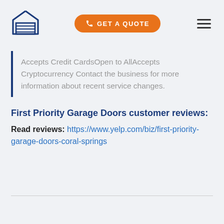[Figure (logo): Garage door icon in dark blue outline style]
[Figure (other): Orange pill-shaped button with phone icon and text GET A QUOTE]
[Figure (other): Hamburger menu icon with three horizontal lines]
Accepts Credit CardsOpen to AllAccepts Cryptocurrency Contact the business for more information about recent service changes.
First Priority Garage Doors customer reviews:
Read reviews: https://www.yelp.com/biz/first-priority-garage-doors-coral-springs